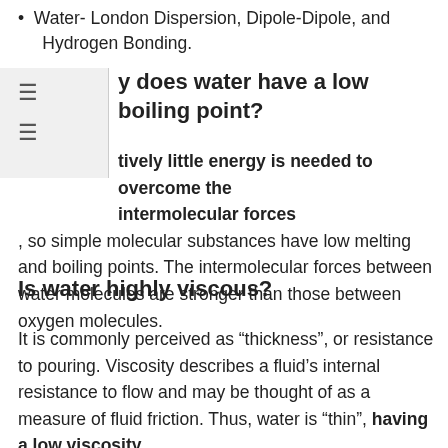Water- London Dispersion, Dipole-Dipole, and Hydrogen Bonding.
Why does water have a low boiling point?
Relatively little energy is needed to overcome the intermolecular forces, so simple molecular substances have low melting and boiling points. The intermolecular forces between water molecules are stronger than those between oxygen molecules.
Is water highly viscous?
It is commonly perceived as “thickness”, or resistance to pouring. Viscosity describes a fluid’s internal resistance to flow and may be thought of as a measure of fluid friction. Thus, water is “thin”, having a low viscosity,